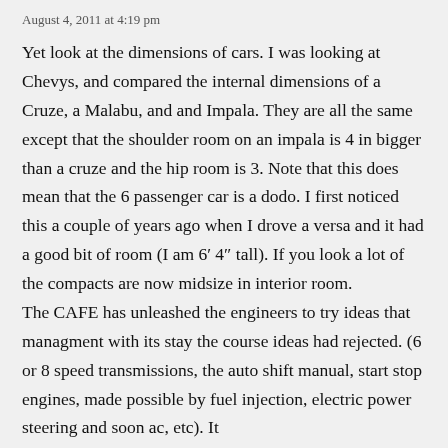August 4, 2011 at 4:19 pm
Yet look at the dimensions of cars. I was looking at Chevys, and compared the internal dimensions of a Cruze, a Malabu, and and Impala. They are all the same except that the shoulder room on an impala is 4 in bigger than a cruze and the hip room is 3. Note that this does mean that the 6 passenger car is a dodo. I first noticed this a couple of years ago when I drove a versa and it had a good bit of room (I am 6′ 4″ tall). If you look a lot of the compacts are now midsize in interior room.
The CAFE has unleashed the engineers to try ideas that managment with its stay the course ideas had rejected. (6 or 8 speed transmissions, the auto shift manual, start stop engines, made possible by fuel injection, electric power steering and soon ac, etc). It